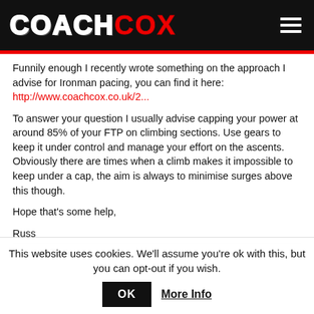COACH COX
Funnily enough I recently wrote something on the approach I advise for Ironman pacing, you can find it here: http://www.coachcox.co.uk/2...
To answer your question I usually advise capping your power at around 85% of your FTP on climbing sections. Use gears to keep it under control and manage your effort on the ascents. Obviously there are times when a climb makes it impossible to keep under a cap, the aim is always to minimise surges above this though.
Hope that's some help,
Russ
Reply
This website uses cookies. We'll assume you're ok with this, but you can opt-out if you wish.